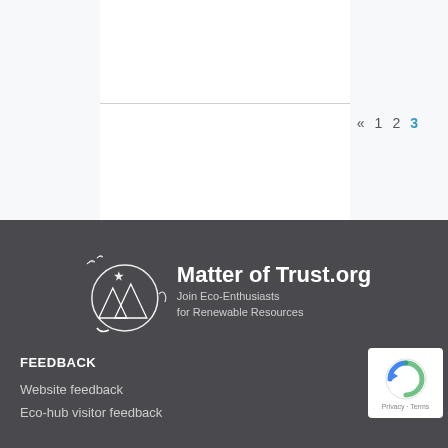« 1 2 3
[Figure (logo): Matter of Trust.org logo with circular eco graphic showing mountains and star, tagline: Join Eco-Enthusiasts for Renewable Resources]
FEEDBACK
Website feedback
Eco-hub visitor feedback
[Figure (other): reCAPTCHA badge with Privacy and Terms links]